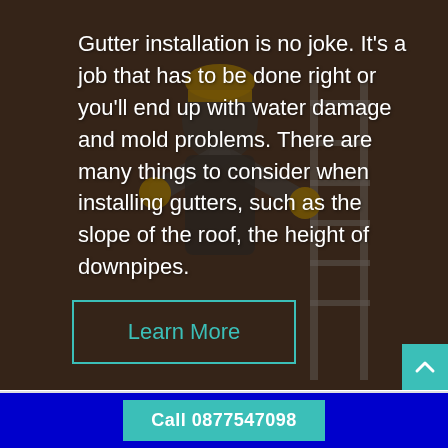[Figure (photo): Background photo of a construction worker in a hard hat and yellow gloves installing gutters on a building. The image has a dark overlay.]
Gutter installation is no joke. It's a job that has to be done right or you'll end up with water damage and mold problems. There are many things to consider when installing gutters, such as the slope of the roof, the height of downpipes.
Learn More
Call 0877547098